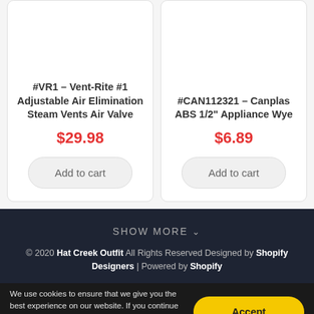#VR1 - Vent-Rite #1 Adjustable Air Elimination Steam Vents Air Valve
$29.98
Add to cart
#CAN112321 - Canplas ABS 1/2" Appliance Wye
$6.89
Add to cart
SHOW MORE ∨
© 2020 Hat Creek Outfit All Rights Reserved Designed by Shopify Designers | Powered by Shopify
We use cookies to ensure that we give you the best experience on our website. If you continue we'll assume that you are understand this. Learn more